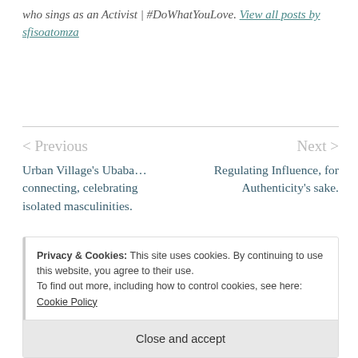who sings as an Activist | #DoWhatYouLove. View all posts by sfisoatomza
< Previous
Urban Village's Ubaba… connecting, celebrating isolated masculinities.
Next >
Regulating Influence, for Authenticity's sake.
Privacy & Cookies: This site uses cookies. By continuing to use this website, you agree to their use.
To find out more, including how to control cookies, see here: Cookie Policy
Close and accept